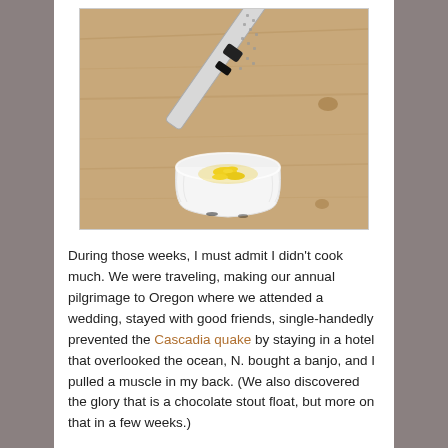[Figure (photo): A metal zester/grater resting diagonally across a small white ramekin bowl containing yellow lemon zest, placed on a light wooden surface.]
During those weeks, I must admit I didn't cook much. We were traveling, making our annual pilgrimage to Oregon where we attended a wedding, stayed with good friends, single-handedly prevented the Cascadia quake by staying in a hotel that overlooked the ocean, N. bought a banjo, and I pulled a muscle in my back. (We also discovered the glory that is a chocolate stout float, but more on that in a few weeks.)